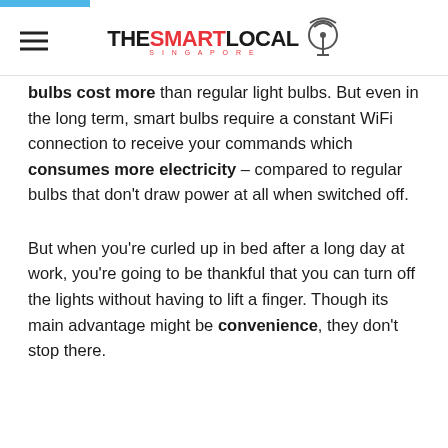THE SMART LOCAL SINGAPORE
bulbs cost more than regular light bulbs. But even in the long term, smart bulbs require a constant WiFi connection to receive your commands which consumes more electricity – compared to regular bulbs that don't draw power at all when switched off.
But when you're curled up in bed after a long day at work, you're going to be thankful that you can turn off the lights without having to lift a finger. Though its main advantage might be convenience, they don't stop there.